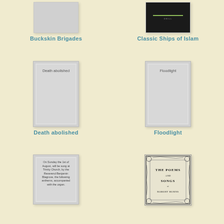[Figure (illustration): Book cover thumbnail for Buckskin Brigades - plain grey cover]
Buckskin Brigades
[Figure (illustration): Book cover thumbnail for Classic Ships of Islam - dark black cover with green line and small text]
Classic Ships of Islam
[Figure (illustration): Book cover thumbnail for Death abolished - grey cover with inner border and title text]
Death abolished
[Figure (illustration): Book cover thumbnail for Floodlight - grey cover with inner border and title text]
Floodlight
[Figure (illustration): Book cover thumbnail showing text: On Sunday the 1st of August, will be sung at Trinity Church, by the Reverend Benjamin Blagrove, the following anthems, accompanied with the organ.]
[Figure (illustration): Book cover thumbnail for The Poems and Songs of Robert Burns - ornate decorative border with title inside]